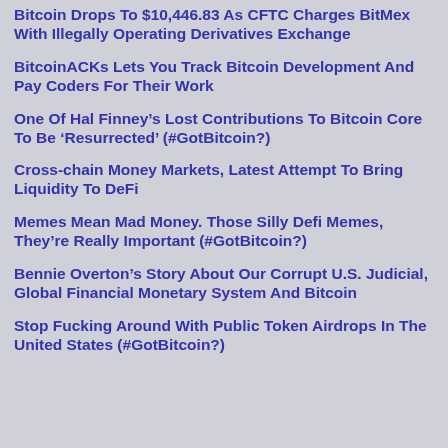Bitcoin Drops To $10,446.83 As CFTC Charges BitMex With Illegally Operating Derivatives Exchange
BitcoinACKs Lets You Track Bitcoin Development And Pay Coders For Their Work
One Of Hal Finney’s Lost Contributions To Bitcoin Core To Be ‘Resurrected’ (#GotBitcoin?)
Cross-chain Money Markets, Latest Attempt To Bring Liquidity To DeFi
Memes Mean Mad Money. Those Silly Defi Memes, They’re Really Important (#GotBitcoin?)
Bennie Overton’s Story About Our Corrupt U.S. Judicial, Global Financial Monetary System And Bitcoin
Stop Fucking Around With Public Token Airdrops In The United States (#GotBitcoin?)